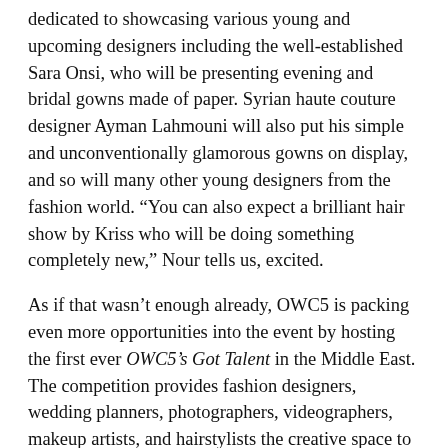dedicated to showcasing various young and upcoming designers including the well-established Sara Onsi, who will be presenting evening and bridal gowns made of paper. Syrian haute couture designer Ayman Lahmouni will also put his simple and unconventionally glamorous gowns on display, and so will many other young designers from the fashion world. “You can also expect a brilliant hair show by Kriss who will be doing something completely new,” Nour tells us, excited.
As if that wasn’t enough already, OWC5 is packing even more opportunities into the event by hosting the first ever OWC5’s Got Talent in the Middle East. The competition provides fashion designers, wedding planners, photographers, videographers, makeup artists, and hairstylists the creative space to submit entries online where a jury will select the best and most creative entry in each field. Winners will receive 5000 LE, and a free course from the expert jury. Oh, and one